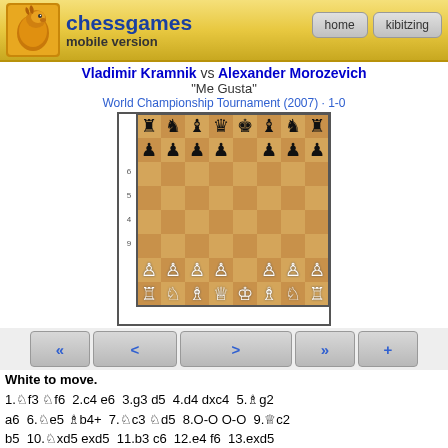chessgames mobile version
Vladimir Kramnik vs Alexander Morozevich
"Me Gusta"
World Championship Tournament (2007) · 1-0
[Figure (other): Chess board showing opening position of the game between Kramnik and Morozevich. Standard chess starting formation with pawns advanced.]
White to move.
1.♘f3 ♘f6  2.c4 e6  3.g3 d5  4.d4 dxc4  5.♗g2 a6  6.♘e5 ♗b4+  7.♘c3 ♘d5  8.O-O O-O  9.♕c2 b5  10.♘xd5 exd5  11.b3 c6  12.e4 f6  13.exd5 fxe5  14.bxc4 exd4  15.dxc6 ♗e6  16.cxb5 d3